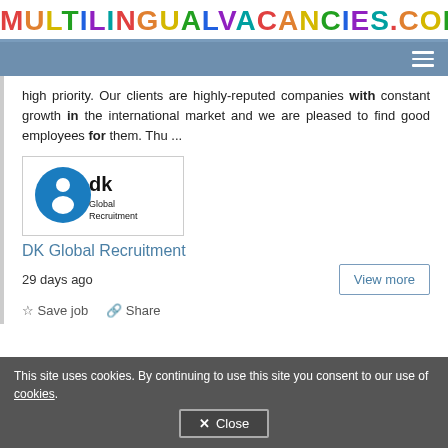MULTILINGUALVACANCIES.COM
high priority. Our clients are highly-reputed companies with constant growth in the international market and we are pleased to find good employees for them. Thu ...
[Figure (logo): DK Global Recruitment company logo: blue circular DK icon with person silhouette, text 'dk Global Recruitment']
DK Global Recruitment
29 days ago
Save job   Share
This site uses cookies. By continuing to use this site you consent to our use of cookies.